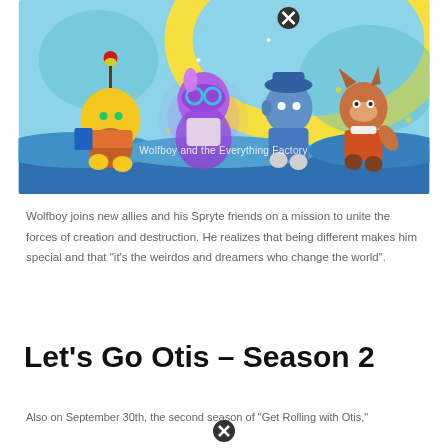[Figure (illustration): Illustration from 'Wolfboy and the Everything Factory' showing four animated characters on a colorful fantasy background. Characters include a yellow round character, a purple masked figure, a blue character, and a wolf character. Text overlay reads 'Wolfboy and the Everything Factory'.]
Wolfboy joins new allies and his Spryte friends on a mission to unite the forces of creation and destruction. He realizes that being different makes him special and that "it's the weirdos and dreamers who change the world".
Let's Go Otis – Season 2
Also on September 30th, the second season of "Get Rolling with Otis,"